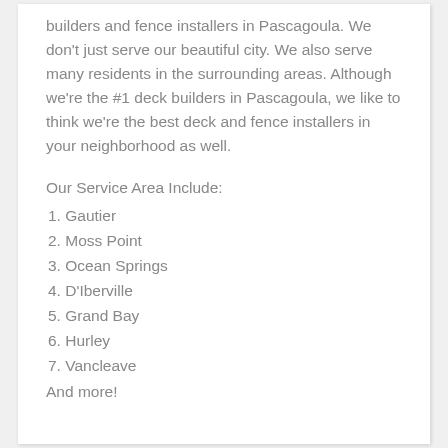builders and fence installers in Pascagoula. We don't just serve our beautiful city. We also serve many residents in the surrounding areas. Although we're the #1 deck builders in Pascagoula, we like to think we're the best deck and fence installers in your neighborhood as well.
Our Service Area Include:
1. Gautier
2. Moss Point
3. Ocean Springs
4. D'Iberville
5. Grand Bay
6. Hurley
7. Vancleave
And more!